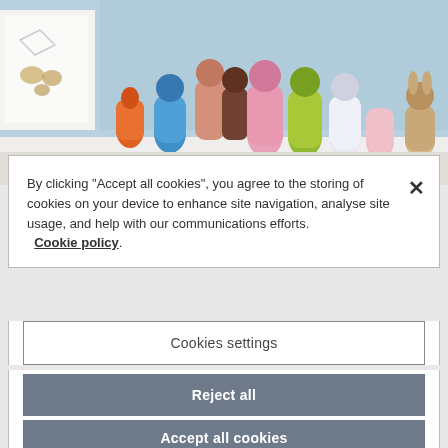[Figure (photo): Colorful painted wooden toy figures (animals and characters) lined up on a windowsill, with children's drawings visible in the background.]
By clicking “Accept all cookies”, you agree to the storing of cookies on your device to enhance site navigation, analyse site usage, and help with our communications efforts. Cookie policy.
Cookies settings
Reject all
Accept all cookies